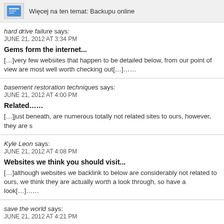Więcej na ten temat: Backupu online
hard drive failure says:
JUNE 21, 2012 AT 3:34 PM
Gems form the internet...
[...]very few websites that happen to be detailed below, from our point of view are most well worth checking out[...]......
basement restoration techniques says:
JUNE 21, 2012 AT 4:00 PM
Related......
[...]just beneath, are numerous totally not related sites to ours, however, they are s
Kyle Leon says:
JUNE 21, 2012 AT 4:08 PM
Websites we think you should visit...
[...]although websites we backlink to below are considerably not related to ours, we think they are actually worth a look through, so have a look[...]......
save the world says:
JUNE 21, 2012 AT 4:21 PM
Check this out...
[...] that is the end of this article. Here you'll find some sites that we think you'll appreciate[...]